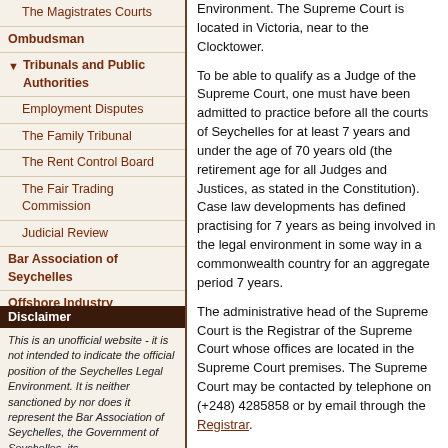The Magistrates Courts
Ombudsman
Tribunals and Public Authorities
Employment Disputes
The Family Tribunal
The Rent Control Board
The Fair Trading Commission
Judicial Review
Bar Association of Seychelles
Offshore Industry
Links
Contact
Disclaimer
This is an unofficial website - it is not intended to indicate the official position of the Seychelles Legal Environment. It is neither sanctioned by nor does it represent the Bar Association of Seychelles, the Government of Seychelles, its
Environment. The Supreme Court is located in Victoria, near to the Clocktower.
To be able to qualify as a Judge of the Supreme Court, one must have been admitted to practice before all the courts of Seychelles for at least 7 years and under the age of 70 years old (the retirement age for all Judges and Justices, as stated in the Constitution). Case law developments has defined practising for 7 years as being involved in the legal environment in some way in a commonwealth country for an aggregate period 7 years.
The administrative head of the Supreme Court is the Registrar of the Supreme Court whose offices are located in the Supreme Court premises. The Supreme Court may be contacted by telephone on (+248) 4285858 or by email through the Registrar.
Below is a list of the Judicial Officers of the Supreme Court, with educational background:
Chief Justice
Mr Fredrick Egonda-Ntende - LLB (Makerere), LLM (Strathclyde)